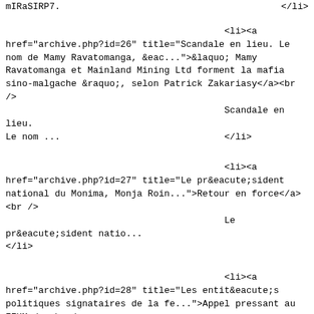mIRaSIRP7.                                          </li>
<li><a
href="archive.php?id=26" title="Scandale en lieu. Le
nom de Mamy Ravatomanga, &eac...">&laquo; Mamy
Ravatomanga et Mainland Mining Ltd forment la mafia
sino-malgache &raquo;, selon Patrick Zakariasy</a><br
/>
                                        Scandale en lieu.
Le nom ...                                      </li>
<li><a
href="archive.php?id=27" title="Le pr&eacute;sident
national du Monima, Monja Roin...">Retour en force</a>
<br />
                                        Le
pr&eacute;sident natio...
</li>
<li><a
href="archive.php?id=28" title="Les entit&eacute;s
politiques signataires de la fe...">Appel pressant au
FFKM</a><br />
                                        Les
entit&eacute;s politi...
</li>
<li><a
href="archive.php?id=29" title="Le parlement concocte
un projet de texte relatif a...">Un projet de texte en
gestation</a><br />